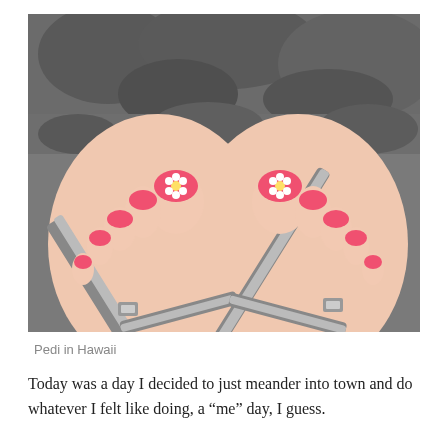[Figure (photo): Close-up photo of two feet wearing dark flip-flop sandals with straps and buckles, toenails painted pink/coral with flower nail art on the big toes, set against a background of dark volcanic rocks.]
Pedi in Hawaii
Today was a day I decided to just meander into town and do whatever I felt like doing, a “me” day, I guess.